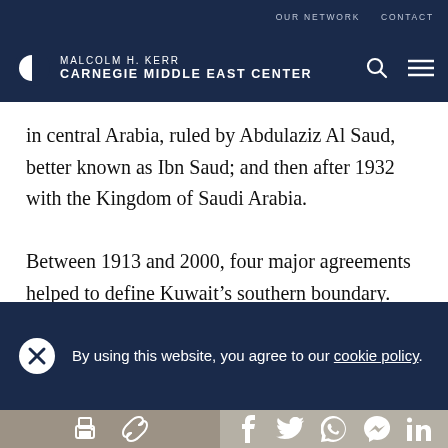OUR NETWORK   CONTACT
MALCOLM H. KERR CARNEGIE MIDDLE EAST CENTER
in central Arabia, ruled by Abdulaziz Al Saud, better known as Ibn Saud; and then after 1932 with the Kingdom of Saudi Arabia.

Between 1913 and 2000, four major agreements helped to define Kuwait’s southern boundary. They
By using this website, you agree to our cookie policy.